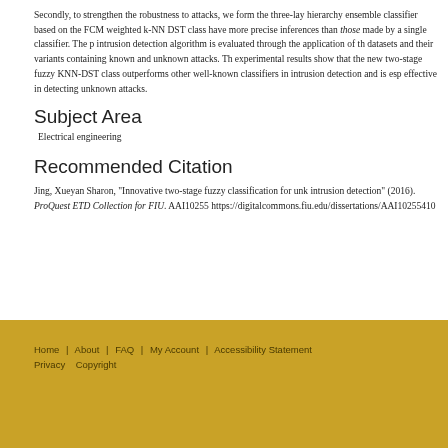Secondly, to strengthen the robustness to attacks, we form the three-layer hierarchy ensemble classifier based on the FCM weighted k-NN DST classifiers have more precise inferences than those made by a single classifier. The proposed intrusion detection algorithm is evaluated through the application of the benchmark datasets and their variants containing known and unknown attacks. The experimental results show that the new two-stage fuzzy KNN-DST classifier outperforms other well-known classifiers in intrusion detection and is especially effective in detecting unknown attacks.
Subject Area
Electrical engineering
Recommended Citation
Jing, Xueyan Sharon, "Innovative two-stage fuzzy classification for unknown intrusion detection" (2016). ProQuest ETD Collection for FIU. AAI10255410 https://digitalcommons.fiu.edu/dissertations/AAI10255410
Home | About | FAQ | My Account | Accessibility Statement Privacy Copyright